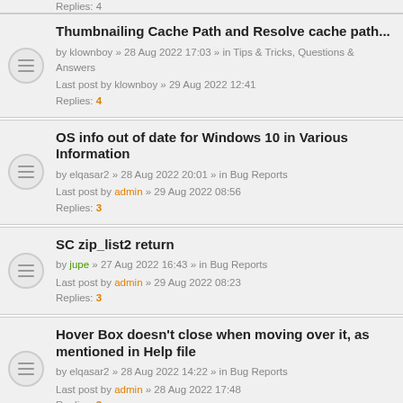Thumbnailing Cache Path and Resolve cache path... by klownboy » 28 Aug 2022 17:03 » in Tips & Tricks, Questions & Answers Last post by klownboy » 29 Aug 2022 12:41 Replies: 4
OS info out of date for Windows 10 in Various Information by elqasar2 » 28 Aug 2022 20:01 » in Bug Reports Last post by admin » 29 Aug 2022 08:56 Replies: 3
SC zip_list2 return by jupe » 27 Aug 2022 16:43 » in Bug Reports Last post by admin » 29 Aug 2022 08:23 Replies: 3
Hover Box doesn't close when moving over it, as mentioned in Help file by elqasar2 » 28 Aug 2022 14:22 » in Bug Reports Last post by admin » 28 Aug 2022 17:48 Replies: 3
icon goes wrong